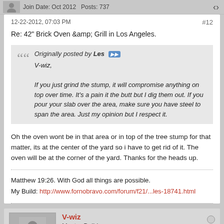Join Date: Oct 2012   Posts: 737
12-22-2012, 07:03 PM   #12
Re: 42" Brick Oven &amp; Grill in Los Angeles.
Originally posted by Les
V-wiz,
If you just grind the stump, it will compromise anything on top over time. It's a pain it the butt but I dig them out. If you pour your slab over the area, make sure you have steel to span the area. Just my opinion but I respect it.
Oh the oven wont be in that area or in top of the tree stump for that matter, its at the center of the yard so i have to get rid of it. The oven will be at the corner of the yard. Thanks for the heads up.
Matthew 19:26. With God all things are possible.
My Build: http://www.fornobravo.com/forum/f21/...les-18741.html
V-wiz
Master Builder